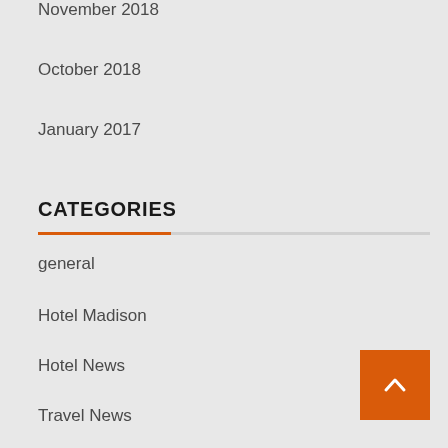November 2018
October 2018
January 2017
CATEGORIES
general
Hotel Madison
Hotel News
Travel News
Travel Trailer
Trump Hotel
bayar.ooo